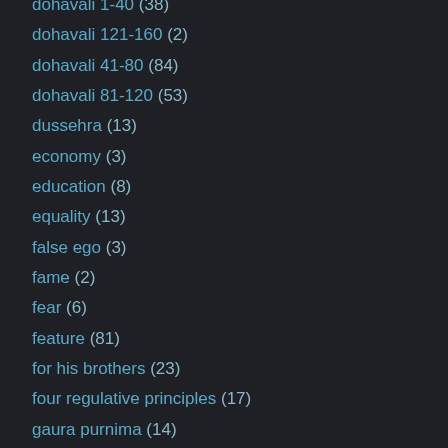dohavali 1-40 (38)
dohavali 121-160 (2)
dohavali 41-80 (84)
dohavali 81-120 (53)
dussehra (13)
economy (3)
education (8)
equality (13)
false ego (3)
fame (2)
fear (6)
feature (81)
for his brothers (23)
four regulative principles (17)
gaura purnima (14)
global warming (4)
glories of lakshmana (35)
glories of sita devi (72)